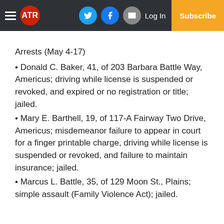ATR | Log In | Subscribe
Arrests (May 4-17)
Donald C. Baker, 41, of 203 Barbara Battle Way, Americus; driving while license is suspended or revoked, and expired or no registration or title; jailed.
Mary E. Barthell, 19, of 117-A Fairway Two Drive, Americus; misdemeanor failure to appear in court for a finger printable charge, driving while license is suspended or revoked, and failure to maintain insurance; jailed.
Marcus L. Battle, 35, of 129 Moon St., Plains; simple assault (Family Violence Act); jailed.